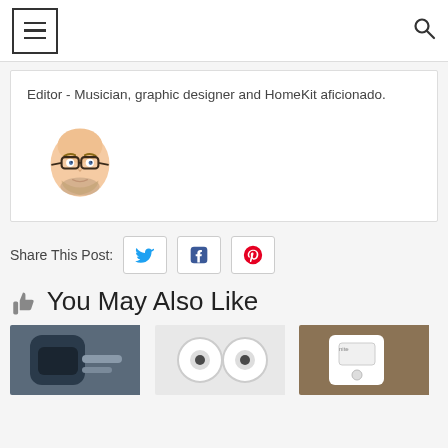Navigation header with hamburger menu and search icon
Editor - Musician, graphic designer and HomeKit aficionado.
[Figure (illustration): Cartoon bald man emoji/memoji with glasses and beard]
Share This Post:
[Figure (other): Twitter share button icon]
[Figure (other): Facebook share button icon]
[Figure (other): Pinterest share button icon]
👍 You May Also Like
[Figure (photo): Product photo 1 - dark device]
[Figure (photo): Product photo 2 - two white cameras]
[Figure (photo): Product photo 3 - white smart plug on cork board]